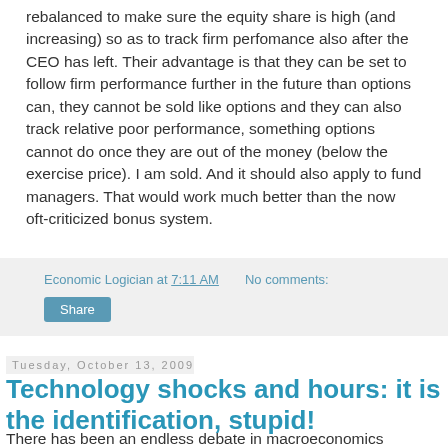rebalanced to make sure the equity share is high (and increasing) so as to track firm perfomance also after the CEO has left. Their advantage is that they can be set to follow firm performance further in the future than options can, they cannot be sold like options and they can also track relative poor performance, something options cannot do once they are out of the money (below the exercise price). I am sold. And it should also apply to fund managers. That would work much better than the now oft-criticized bonus system.
Economic Logician at 7:11 AM   No comments:
Share
Tuesday, October 13, 2009
Technology shocks and hours: it is the identification, stupid!
There has been an endless debate in macroeconomics